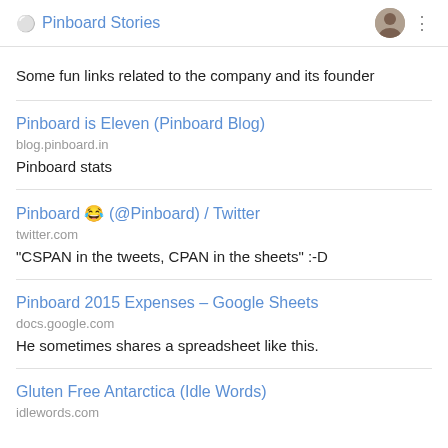Pinboard Stories
Some fun links related to the company and its founder
Pinboard is Eleven (Pinboard Blog)
blog.pinboard.in
Pinboard stats
Pinboard 😂 (@Pinboard) / Twitter
twitter.com
"CSPAN in the tweets, CPAN in the sheets" :-D
Pinboard 2015 Expenses – Google Sheets
docs.google.com
He sometimes shares a spreadsheet like this.
Gluten Free Antarctica (Idle Words)
idlewords.com